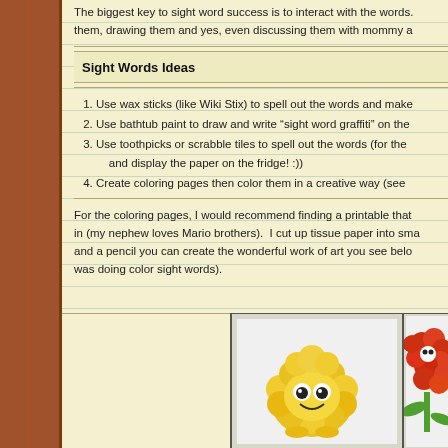The biggest key to sight word success is to interact with the words. them, drawing them and yes, even discussing them with mommy a
Sight Words Ideas
Use wax sticks (like Wiki Stix) to spell out the words and make
Use bathtub paint to draw and write “sight word graffiti” on the
Use toothpicks or scrabble tiles to spell out the words (for the and display the paper on the fridge! :))
Create coloring pages then color them in a creative way (see
For the coloring pages, I would recommend finding a printable that in (my nephew loves Mario brothers).  I cut up tissue paper into sma and a pencil you can create the wonderful work of art you see belo was doing color sight words).
[Figure (photo): Two coloring pages colored with tissue paper showing Mario characters - one yellow fluffy character and one with orange/red flowers]